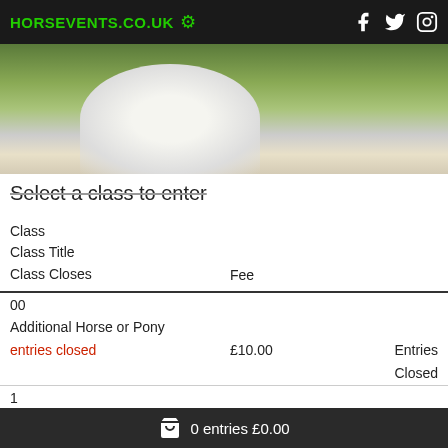HORSEVENTS.CO.UK
[Figure (photo): Hero image of a horse with rider wearing a white helmet, green foliage in background]
Select a class to enter
| Class | Class Title | Class Closes | Fee |
| --- | --- | --- | --- |
| 00 | Additional Horse or Pony | entries closed | £10.00 | Entries Closed |
| 1 | 10am | entries closed | £20.00 | Entries Closed |
| 2 | 11am | entries closed | £20.00 | Entries Closed |
| 3 | 12 pm | entries closed | £20.00 | Entries Closed |
0 entries £0.00